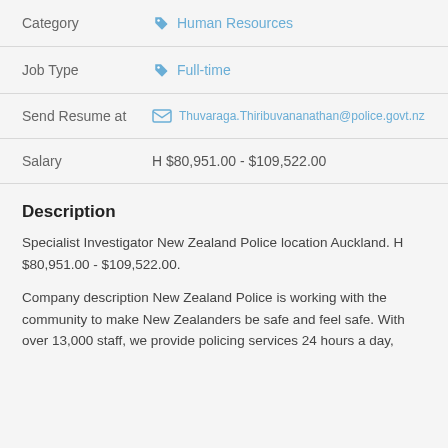| Field | Value |
| --- | --- |
| Category | Human Resources |
| Job Type | Full-time |
| Send Resume at | Thuvaraga.Thiribuvananathan@police.govt.nz |
| Salary | H $80,951.00 - $109,522.00 |
Description
Specialist Investigator New Zealand Police location Auckland. H $80,951.00 - $109,522.00.
Company description New Zealand Police is working with the community to make New Zealanders be safe and feel safe. With over 13,000 staff, we provide policing services 24 hours a day,